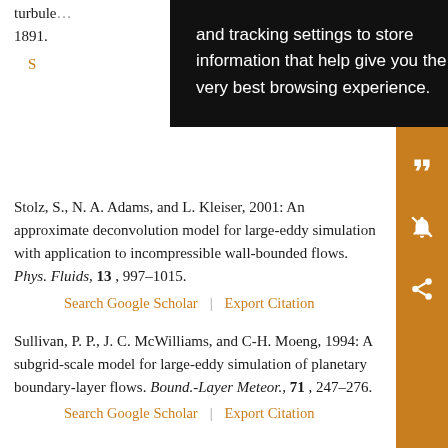turbule... 1891.
and tracking settings to store information that help give you the very best browsing experience.
Stolz, S., N. A. Adams, and L. Kleiser, 2001: An approximate deconvolution model for large-eddy simulation with application to incompressible wall-bounded flows. Phys. Fluids, 13, 997–1015.
Search Google Scholar | Export Citation
Sullivan, P. P., J. C. McWilliams, and C-H. Moeng, 1994: A subgrid-scale model for large-eddy simulation of planetary boundary-layer flows. Bound.-Layer Meteor., 71, 247–276.
Search Google Scholar | Export Citation